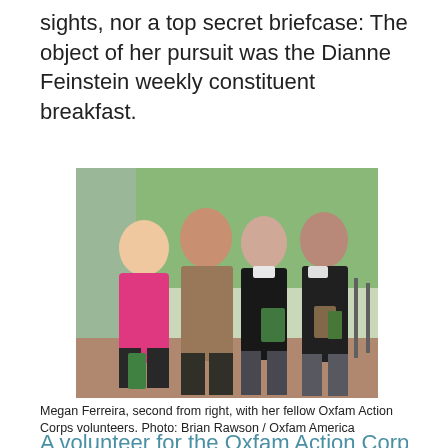sights, nor a top secret briefcase: The object of her pursuit was the Dianne Feinstein weekly constituent breakfast.
[Figure (photo): Four women standing outdoors posing for a photo. From left: woman in pink sweater, woman in patterned top with dark jacket, woman in black outfit, woman in black jacket holding folders. Trees and brick walkway visible in background.]
Megan Ferreira, second from right, with her fellow Oxfam Action Corps volunteers. Photo: Brian Rawson / Oxfam America
A volunteer for the Oxfam Action Corps, Me...